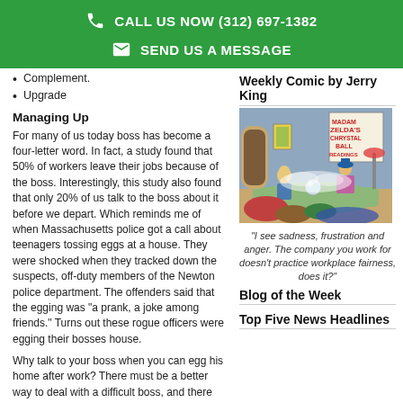CALL US NOW (312) 697-1382
SEND US A MESSAGE
Complement.
Upgrade
Managing Up
For many of us today boss has become a four-letter word. In fact, a study found that 50% of workers leave their jobs because of the boss. Interestingly, this study also found that only 20% of us talk to the boss about it before we depart. Which reminds me of when Massachusetts police got a call about teenagers tossing eggs at a house. They were shocked when they tracked down the suspects, off-duty members of the Newton police department. The offenders said that the egging was "a prank, a joke among friends." Turns out these rogue officers were egging their bosses house.
Why talk to your boss when you can egg his home after work? There must be a better way to deal with a difficult boss, and there is. But first another statistic, a survey of bosses by Zengler discovered that of the 16 key competencies of a leader, motivating and inspiring employees ranked dead last. See the problem here?
Weekly Comic by Jerry King
[Figure (illustration): A cartoon comic strip showing a fortune teller scene with a sign reading 'Madam Zelda's Chrystal Ball Readings']
"I see sadness, frustration and anger. The company you work for doesn't practice workplace fairness, does it?"
Blog of the Week
Top Five News Headlines